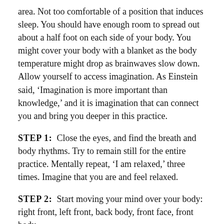area. Not too comfortable of a position that induces sleep. You should have enough room to spread out about a half foot on each side of your body. You might cover your body with a blanket as the body temperature might drop as brainwaves slow down. Allow yourself to access imagination. As Einstein said, ‘Imagination is more important than knowledge,’ and it is imagination that can connect you and bring you deeper in this practice.
STEP 1: Close the eyes, and find the breath and body rhythms. Try to remain still for the entire practice. Mentally repeat, ‘I am relaxed,’ three times. Imagine that you are and feel relaxed.
STEP 2: Start moving your mind over your body: right front, left front, back body, front face, front body.
Starting with the right thumb, mentally say each part of your body that you will become aware of. Move your mind